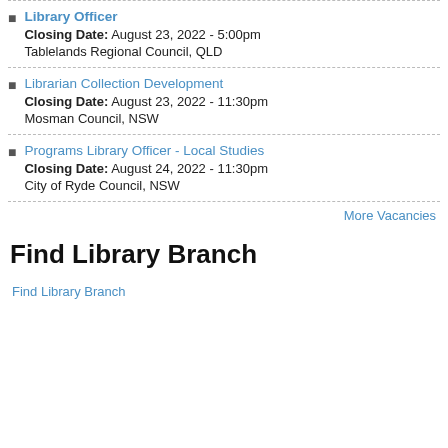Library Officer
Closing Date: August 23, 2022 - 5:00pm
Tablelands Regional Council, QLD
Librarian Collection Development
Closing Date: August 23, 2022 - 11:30pm
Mosman Council, NSW
Programs Library Officer - Local Studies
Closing Date: August 24, 2022 - 11:30pm
City of Ryde Council, NSW
More Vacancies
Find Library Branch
Find Library Branch